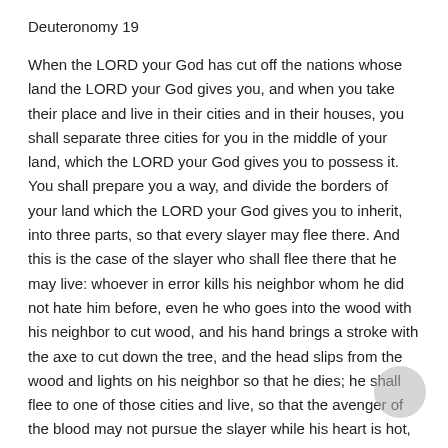Deuteronomy 19
When the LORD your God has cut off the nations whose land the LORD your God gives you, and when you take their place and live in their cities and in their houses, you shall separate three cities for you in the middle of your land, which the LORD your God gives you to possess it. You shall prepare you a way, and divide the borders of your land which the LORD your God gives you to inherit, into three parts, so that every slayer may flee there. And this is the case of the slayer who shall flee there that he may live: whoever in error kills his neighbor whom he did not hate him before, even he who goes into the wood with his neighbor to cut wood, and his hand brings a stroke with the axe to cut down the tree, and the head slips from the wood and lights on his neighbor so that he dies; he shall flee to one of those cities and live, so that the avenger of the blood may not pursue the slayer while his heart is hot, and overtake him because the way is long, and kill him, and he had no sentence worthy of death, for he did not hate him in time past. Therefore I command you saying, You shall separate three cities for you. And if the LORD your God makes your border larger, as He has sworn to your fathers, and gives you all the land which He promised to give to your fathers; if you will keep all these commandments which I command you today, to do them, to love